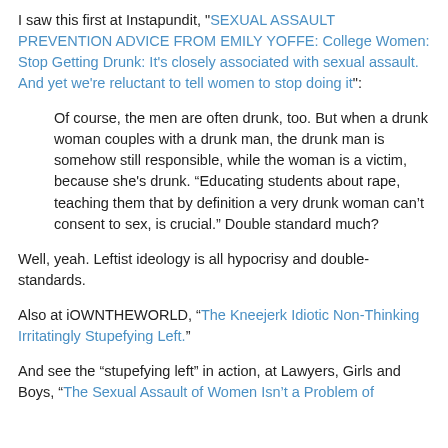I saw this first at Instapundit, "SEXUAL ASSAULT PREVENTION ADVICE FROM EMILY YOFFE: College Women: Stop Getting Drunk: It's closely associated with sexual assault. And yet we're reluctant to tell women to stop doing it":
Of course, the men are often drunk, too. But when a drunk woman couples with a drunk man, the drunk man is somehow still responsible, while the woman is a victim, because she's drunk. “Educating students about rape, teaching them that by definition a very drunk woman can’t consent to sex, is crucial.” Double standard much?
Well, yeah. Leftist ideology is all hypocrisy and double-standards.
Also at iOWNTHEWORLD, “The Kneejerk Idiotic Non-Thinking Irritatingly Stupefying Left.”
And see the "stupefying left" in action, at Lawyers, Girls and Boys, "The Sexual Assault of Women Isn't a Problem of...